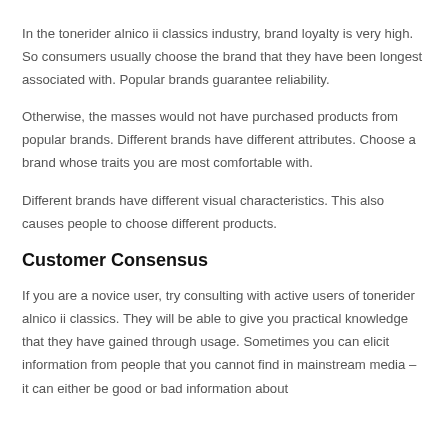In the tonerider alnico ii classics industry, brand loyalty is very high. So consumers usually choose the brand that they have been longest associated with. Popular brands guarantee reliability.
Otherwise, the masses would not have purchased products from popular brands. Different brands have different attributes. Choose a brand whose traits you are most comfortable with.
Different brands have different visual characteristics. This also causes people to choose different products.
Customer Consensus
If you are a novice user, try consulting with active users of tonerider alnico ii classics. They will be able to give you practical knowledge that they have gained through usage. Sometimes you can elicit information from people that you cannot find in mainstream media – it can either be good or bad information about